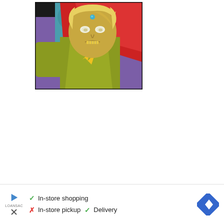[Figure (illustration): Comic book style illustration showing a superhero character with blonde hair, yellow-green skin, a red cape, and a blue gem on the forehead, wearing a yellow-green costume with a lightning bolt emblem. The character has an intense expression and is surrounded by other figures in the background.]
✓ In-store shopping
✗ In-store pickup  ✓ Delivery